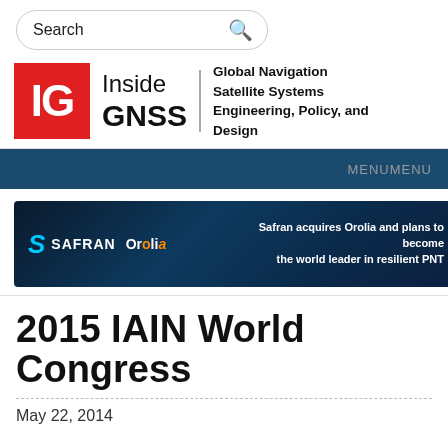Search
[Figure (logo): Inside GNSS logo — red IG box with Inside GNSS text, tagline: Global Navigation Satellite Systems Engineering, Policy, and Design]
MENUMENU
[Figure (screenshot): Safran Orolia banner advertisement: Safran acquires Orolia and plans to become the world leader in resilient PNT]
2015 IAIN World Congress
May 22, 2014